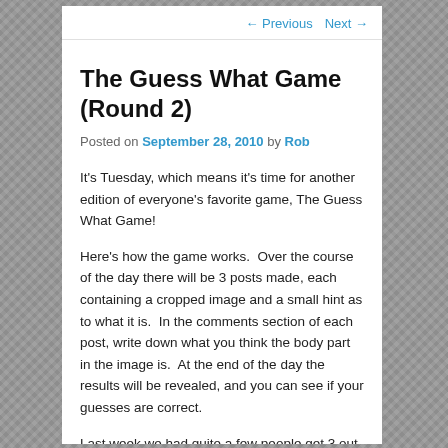← Previous   Next →
The Guess What Game (Round 2)
Posted on September 28, 2010 by Rob
It's Tuesday, which means it's time for another edition of everyone's favorite game, The Guess What Game!
Here's how the game works.  Over the course of the day there will be 3 posts made, each containing a cropped image and a small hint as to what it is.  In the comments section of each post, write down what you think the body part in the image is.  At the end of the day the results will be revealed, and you can see if your guesses are correct.
Last week we had quite a few people get 3 out of 3, so this week things are going to be a little more difficult.  Oh,